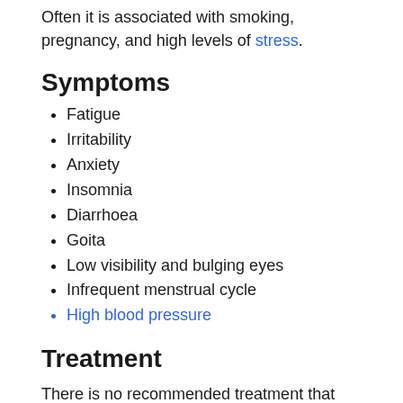Often it is associated with smoking, pregnancy, and high levels of stress.
Symptoms
Fatigue
Irritability
Anxiety
Insomnia
Diarrhoea
Goita
Low visibility and bulging eyes
Infrequent menstrual cycle
High blood pressure
Treatment
There is no recommended treatment that can stop the immune system from attacking the thyroid gland.